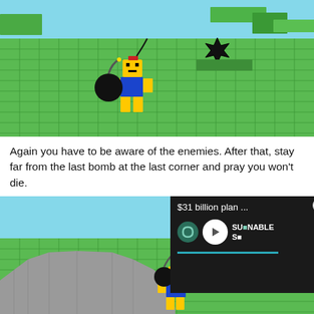[Figure (screenshot): Roblox game screenshot showing a blocky green tiled environment with a yellow Roblox character holding a black bomb, and a star/spike obstacle on the ground. Sky is light blue with green platforms.]
Again you have to be aware of the enemies. After that, stay far from the last bomb at the last corner and pray you won't die.
[Figure (screenshot): Second Roblox game screenshot showing a yellow character with a bomb on a green tiled platform with grey stair-like obstacles. An ad overlay shows '$31 billion plan ...' with a SUSTAINABLE S logo and play button.]